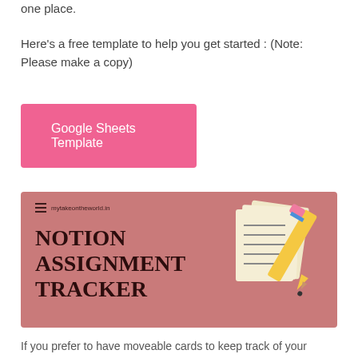one place.
Here's a free template to help you get started : (Note: Please make a copy)
[Figure (screenshot): Pink button labeled 'Google Sheets Template']
[Figure (screenshot): Notion Assignment Tracker banner image with dusty rose background, hamburger menu icon and 'mytakeontheworld.in' URL, bold text 'NOTION ASSIGNMENT TRACKER' on the left, and an illustrated notepad with pencil on the right.]
If you prefer to have moveable cards to keep track of your